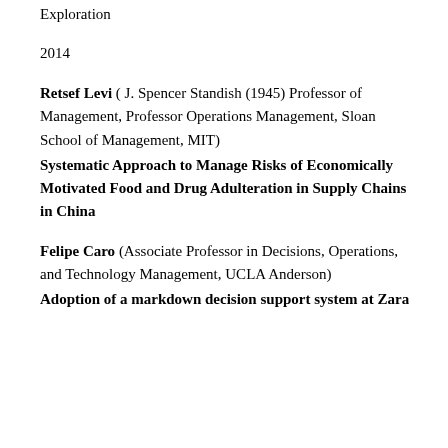Exploration
2014
Retsef Levi (J. Spencer Standish (1945) Professor of Management, Professor Operations Management, Sloan School of Management, MIT)
Systematic Approach to Manage Risks of Economically Motivated Food and Drug Adulteration in Supply Chains in China
Felipe Caro (Associate Professor in Decisions, Operations, and Technology Management, UCLA Anderson)
Adoption of a markdown decision support system at Zara